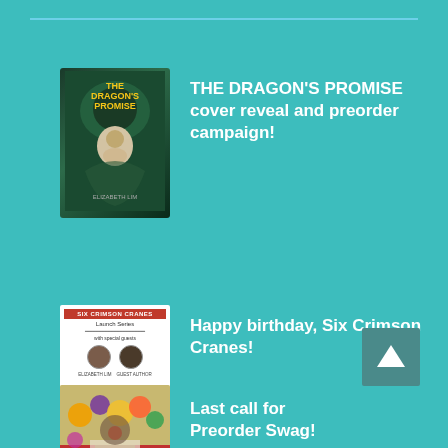[Figure (illustration): Book cover for The Dragon's Promise with dark green dragon-themed illustration]
THE DRAGON'S PROMISE cover reveal and preorder campaign!
[Figure (illustration): Six Crimson Cranes launch series event flyer with two author photos]
Happy birthday, Six Crimson Cranes!
[Figure (photo): Photo of flowers and preorder swag items on a red tablecloth]
Last call for Preorder Swag!